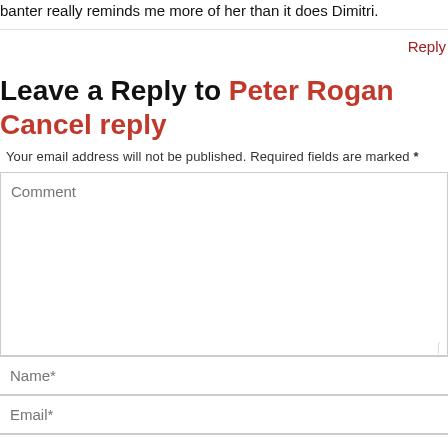banter really reminds me more of her than it does Dimitri.
Reply
Leave a Reply to Peter Rogan Cancel reply
Your email address will not be published. Required fields are marked *
Comment
Name*
Email*